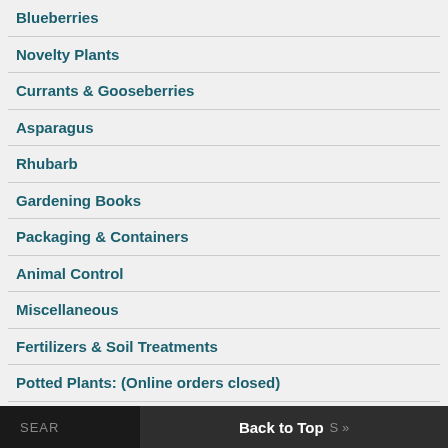Blueberries
Novelty Plants
Currants & Gooseberries
Asparagus
Rhubarb
Gardening Books
Packaging & Containers
Animal Control
Miscellaneous
Fertilizers & Soil Treatments
Potted Plants: (Online orders closed)
Back to Top